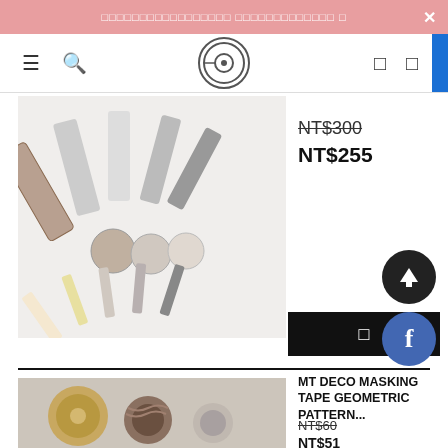Banner notification text (non-Latin characters) ×
[Figure (photo): Navigation bar with hamburger icon, search icon, circular logo, cart icon, and profile icon]
[Figure (photo): Collection of washi masking tapes arranged in a fan/spread pattern on white background, showing various patterned rolls]
NT$300 (strikethrough) NT$255
[Figure (other): Black add to cart button with shopping bag icon]
MT DECO MASKING TAPE GEOMETRIC PATTERN...
NT$60 (strikethrough) NT$51
[Figure (photo): Three rolls of mt deco masking tape with geometric/wave patterns in brown/golden tones]